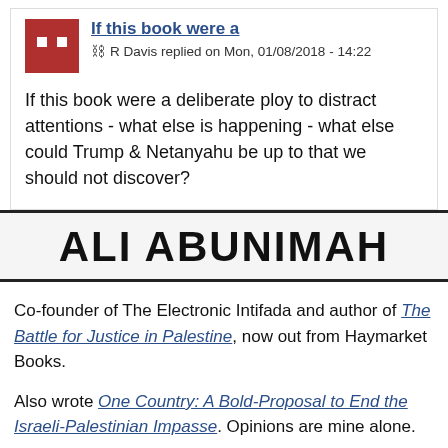If this book were a
R Davis replied on Mon, 01/08/2018 - 14:22
If this book were a deliberate ploy to distract attentions - what else is happening - what else could Trump & Netanyahu be up to that we should not discover?
ALI ABUNIMAH
Co-founder of The Electronic Intifada and author of The Battle for Justice in Palestine, now out from Haymarket Books.
Also wrote One Country: A Bold-Proposal to End the Israeli-Palestinian Impasse. Opinions are mine alone.